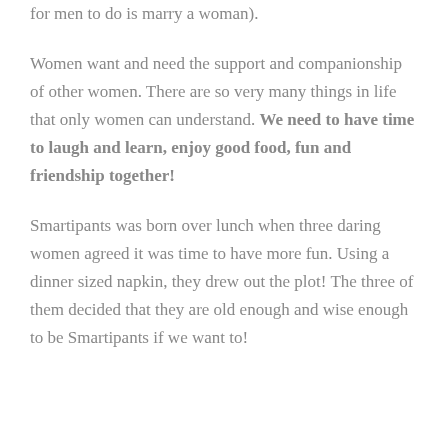for men to do is marry a woman).
Women want and need the support and companionship of other women. There are so very many things in life that only women can understand. We need to have time to laugh and learn, enjoy good food, fun and friendship together!
Smartipants was born over lunch when three daring women agreed it was time to have more fun. Using a dinner sized napkin, they drew out the plot! The three of them decided that they are old enough and wise enough to be Smartipants if we want to!